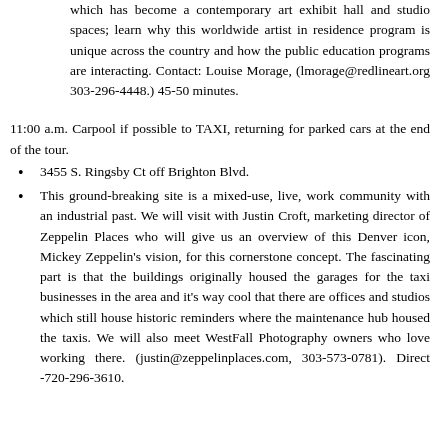which has become a contemporary art exhibit hall and studio spaces; learn why this worldwide artist in residence program is unique across the country and how the public education programs are interacting. Contact: Louise Morage, (lmorage@redlineart.org 303-296-4448.) 45-50 minutes.
11:00 a.m. Carpool if possible to TAXI, returning for parked cars at the end of the tour.
3455 S. Ringsby Ct off Brighton Blvd.
This ground-breaking site is a mixed-use, live, work community with an industrial past. We will visit with Justin Croft, marketing director of Zeppelin Places who will give us an overview of this Denver icon, Mickey Zeppelin's vision, for this cornerstone concept. The fascinating part is that the buildings originally housed the garages for the taxi businesses in the area and it's way cool that there are offices and studios which still house historic reminders where the maintenance hub housed the taxis. We will also meet WestFall Photography owners who love working there. (justin@zeppelinplaces.com, 303-573-0781). Direct -720-296-3610.